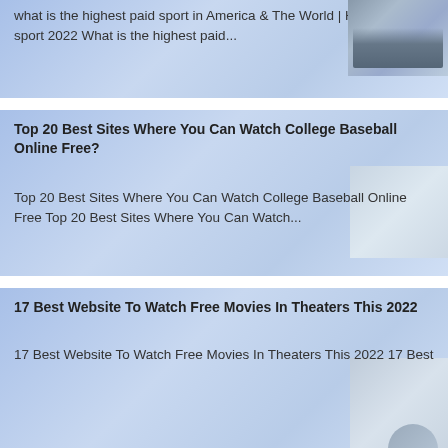what is the highest paid sport in America & The World | Highest-paid sport 2022 What is the highest paid...
[Figure (photo): Thumbnail photo of cyclists racing in a group]
Top 20 Best Sites Where You Can Watch College Baseball Online Free?
Top 20 Best Sites Where You Can Watch College Baseball Online Free Top 20 Best Sites Where You Can Watch...
[Figure (photo): Blank/white thumbnail image placeholder]
17 Best Website To Watch Free Movies In Theaters This 2022
17 Best Website To Watch Free Movies In Theaters This 2022 17 Best
[Figure (photo): Blank/white thumbnail with partial circle icon]